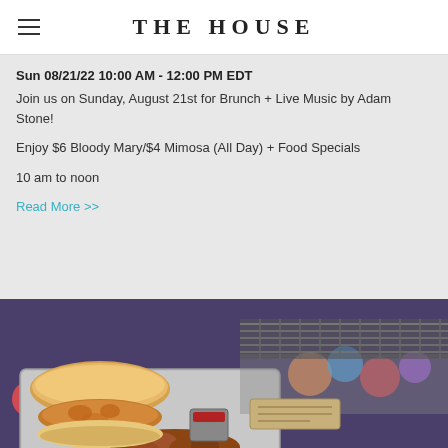THE HOUSE
Sun 08/21/22 10:00 AM - 12:00 PM EDT
Join us on Sunday, August 21st for Brunch + Live Music by Adam Stone!
Enjoy $6 Bloody Mary/$4 Mimosa (All Day) + Food Specials
10 am to noon
Read More >>
[Figure (photo): A fried chicken biscuit sandwich on a metal tray with roasted potatoes and a dipping sauce cup, set on a colorful bar countertop]